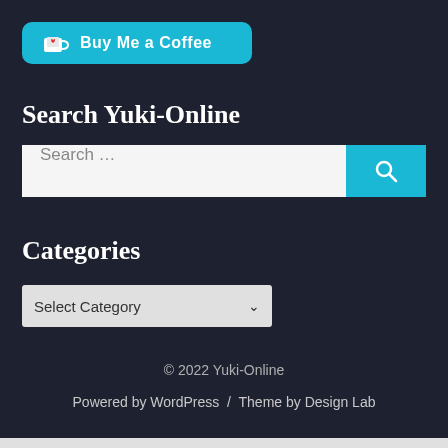[Figure (other): Buy Me a Coffee button — teal rounded button with coffee cup icon and text 'Buy Me a Coffee']
Search Yuki-Online
[Figure (other): Search bar with light gray input field showing placeholder 'Search ...' and teal search button with magnifying glass icon]
Categories
[Figure (other): Select Category dropdown widget]
© 2022 Yuki-Online
Powered by WordPress  /  Theme by Design Lab